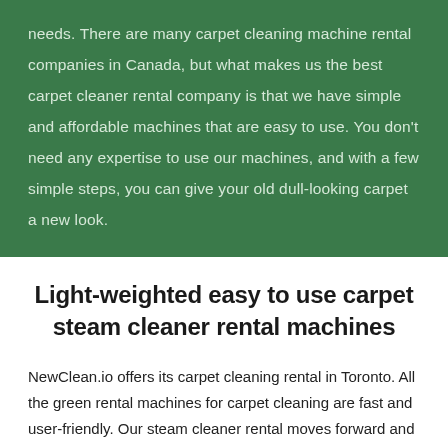needs. There are many carpet cleaning machine rental companies in Canada, but what makes us the best carpet cleaner rental company is that we have simple and affordable machines that are easy to use. You don't need any expertise to use our machines, and with a few simple steps, you can give your old dull-looking carpet a new look.
Light-weighted easy to use carpet steam cleaner rental machines
NewClean.io offers its carpet cleaning rental in Toronto. All the green rental machines for carpet cleaning are fast and user-friendly. Our steam cleaner rental moves forward and backward, making cleaning